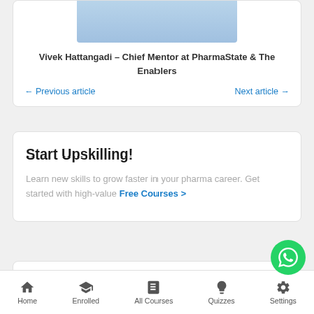[Figure (photo): Cropped photo of Vivek Hattangadi in a blue shirt]
Vivek Hattangadi – Chief Mentor at PharmaState & The Enablers
← Previous article   Next article →
Start Upskilling!
Learn new skills to grow faster in your pharma career. Get started with high-value Free Courses >
Home   Enrolled   All Courses   Quizzes   Settings